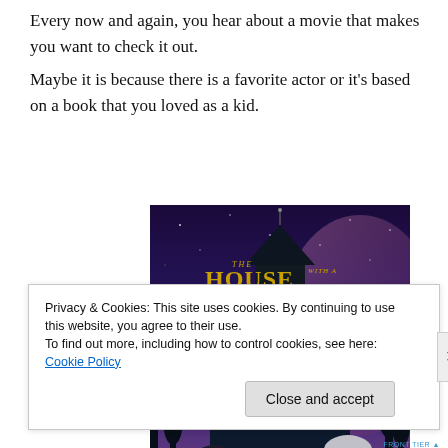Every now and again, you hear about a movie that makes you want to check it out. Maybe it is because there is a favorite actor or it's based on a book that you loved as a kid.
[Figure (illustration): Movie poster for 'The House with a Clock in Its Walls' — released nationwide on 21 September 2018. Dark blue/purple fantasy poster showing a haunted mansion with a clock tower, two adult characters in foreground.]
Privacy & Cookies: This site uses cookies. By continuing to use this website, you agree to their use.
To find out more, including how to control cookies, see here: Cookie Policy